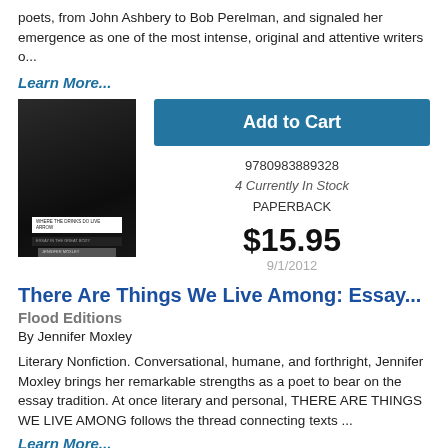poets, from John Ashbery to Bob Perelman, and signaled her emergence as one of the most intense, original and attentive writers o...
Learn More...
[Figure (photo): Book cover image, dark black and white, with small white text labels near the bottom]
Add to Cart
9780983889328
4 Currently In Stock
PAPERBACK
$15.95
9/1/2012
There Are Things We Live Among: Essay...
Flood Editions
By Jennifer Moxley
Literary Nonfiction. Conversational, humane, and forthright, Jennifer Moxley brings her remarkable strengths as a poet to bear on the essay tradition. At once literary and personal, THERE ARE THINGS WE LIVE AMONG follows the thread connecting texts ...
Learn More...